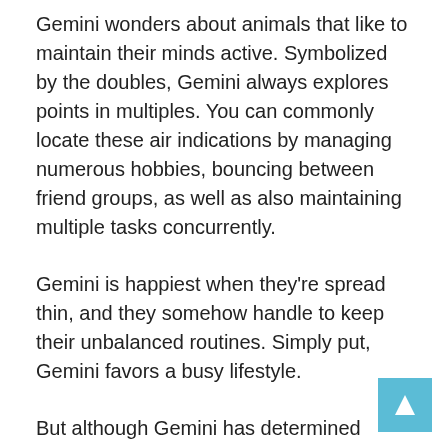Gemini wonders about animals that like to maintain their minds active. Symbolized by the doubles, Gemini always explores points in multiples. You can commonly locate these air indications by managing numerous hobbies, bouncing between friend groups, as well as also maintaining multiple tasks concurrently.
Gemini is happiest when they're spread thin, and they somehow handle to keep their unbalanced routines. Simply put, Gemini favors a busy lifestyle.
But although Gemini has determined incredible individual systems that satisfy all their passions and interests, these jacks-of-all-trades just aren't able to focus way too much energy on any type of particular location.
Of course, this doesn't always bode well when a severe companion comes into the fold. Lasting partnerships require...